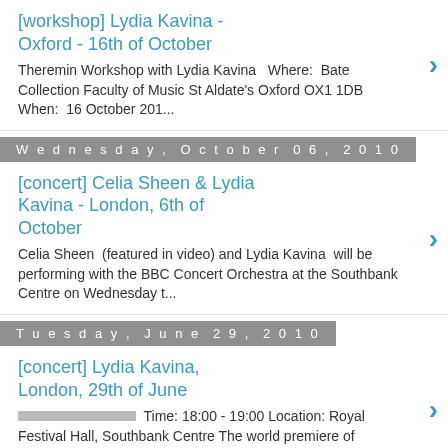[workshop] Lydia Kavina - Oxford - 16th of October
Theremin Workshop with Lydia Kavina   Where:  Bate Collection Faculty of Music St Aldate's Oxford OX1 1DB When:  16 October 201...
Wednesday, October 06, 2010
[concert] Celia Sheen & Lydia Kavina - London, 6th of October
Celia Sheen  (featured in video) and Lydia Kavina  will be performing with the BBC Concert Orchestra at the Southbank Centre on Wednesday t...
Tuesday, June 29, 2010
[concert] Lydia Kavina, London, 29th of June
Time: 18:00 - 19:00 Location: Royal Festival Hall, Southbank Centre The world premiere of Christian Mason's new piece "Looking f...